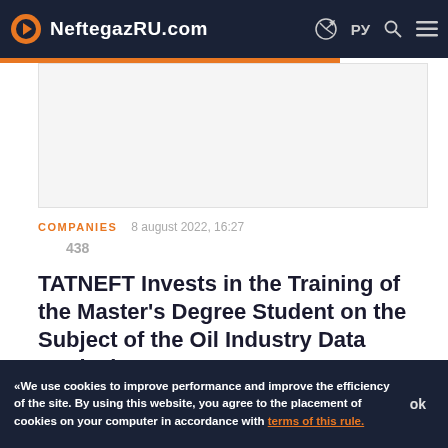NeftegazRU.com
[Figure (other): Advertisement placeholder box]
COMPANIES   8 august 2022, 16:27
438
TATNEFT Invests in the Training of the Master's Degree Student on the Subject of the Oil Industry Data Analysis
«We use cookies to improve performance and improve the efficiency of the site. By using this website, you agree to the placement of cookies on your computer in accordance with terms of this rule.   ok